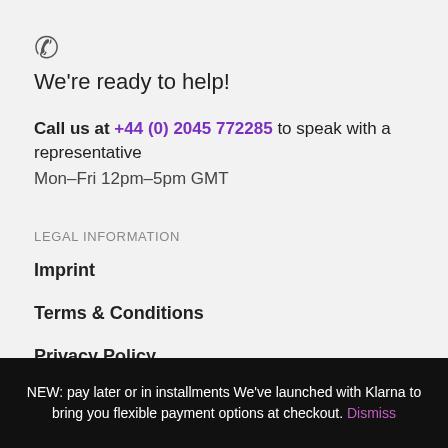[Figure (other): Phone handset icon]
We're ready to help!
Call us at +44 (0) 2045 772285 to speak with a representative
Mon–Fri 12pm–5pm GMT
LEGAL INFORMATION
Imprint
Terms & Conditions
Privacy Policy
Returns & Cancellation
NEW: pay later or in installments We've launched with Klarna to bring you flexible payment options at checkout. Dismiss